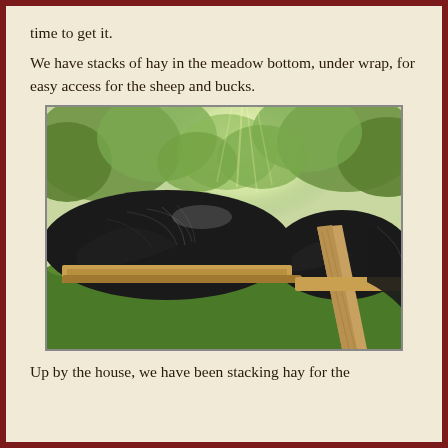time to get it.
We have stacks of hay in the meadow bottom, under wrap, for easy access for the sheep and bucks.
[Figure (photo): Outdoor photo showing large stacks of hay covered with black plastic wrap/tarp, supported by wooden boards, set in a grassy area surrounded by trees with sunlight filtering through the foliage.]
Up by the house, we have been stacking hay for the